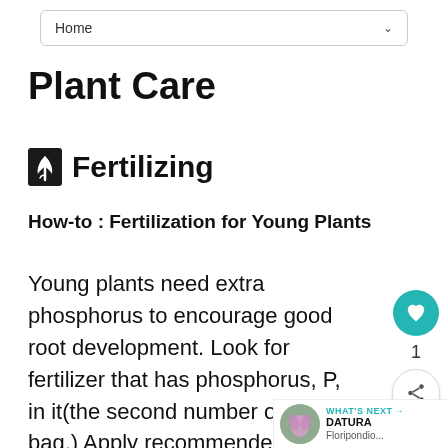Home
Plant Care
Fertilizing
How-to : Fertilization for Young Plants
Young plants need extra phosphorus to encourage good root development. Look for fertilizer that has phosphorus, P, in it(the second number on the bag.) Apply recommended amount for plant per label directions in the soil at time of plant. at least during the first growing season.